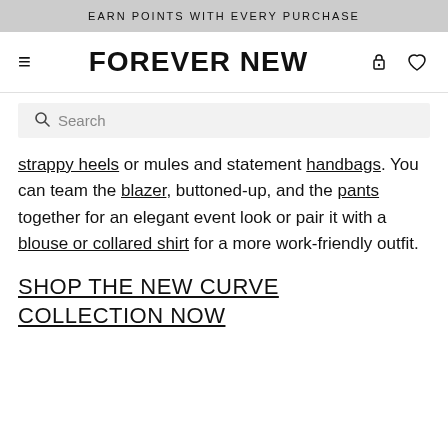EARN POINTS WITH EVERY PURCHASE
FOREVER NEW
Search
strappy heels or mules and statement handbags. You can team the blazer, buttoned-up, and the pants together for an elegant event look or pair it with a blouse or collared shirt for a more work-friendly outfit.
SHOP THE NEW CURVE COLLECTION NOW